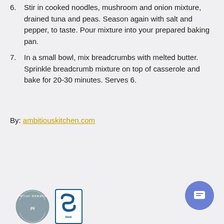6. Stir in cooked noodles, mushroom and onion mixture, drained tuna and peas. Season again with salt and pepper, to taste. Pour mixture into your prepared baking pan.
7. In a small bowl, mix breadcrumbs with melted butter. Sprinkle breadcrumb mixture on top of casserole and bake for 20-30 minutes. Serves 6.
By: ambitiouskitchen.com
[Figure (logo): Proud Member circular badge logo (grey) and Better Business Bureau (BBB) square logo]
[Figure (illustration): Blue circular chat button with message icon in bottom right corner]